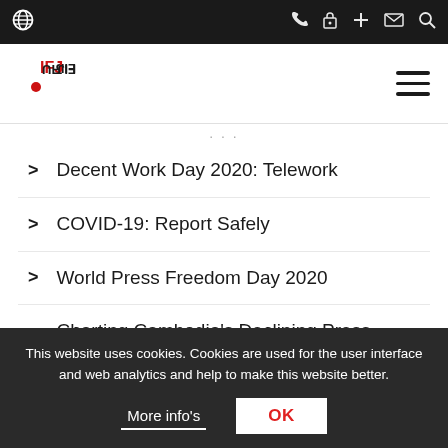[Figure (screenshot): IFJ website top navigation bar with dark background showing globe icon on left and phone, lock, plus, mail, search icons on right]
[Figure (logo): IFJ (International Federation of Journalists) logo with hamburger menu icon on right]
· · ·
Decent Work Day 2020: Telework
COVID-19: Report Safely
World Press Freedom Day 2020
Charting Cambodia's Declining Press Freedom
Hong Kong Campaign
End Impunity, for a UN Convention to protect…
This website uses cookies. Cookies are used for the user interface and web analytics and help to make this website better.
More info's
OK